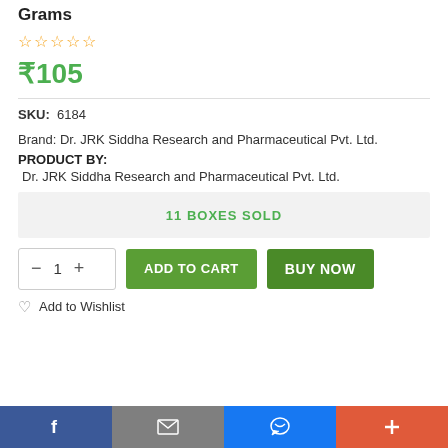Grams
★★★★★ (stars rating)
₹105
SKU: 6184
Brand: Dr. JRK Siddha Research and Pharmaceutical Pvt. Ltd.
PRODUCT BY:
Dr. JRK Siddha Research and Pharmaceutical Pvt. Ltd.
11 BOXES SOLD
− 1 + ADD TO CART BUY NOW
Add to Wishlist
f  [mail]  [messenger]  +